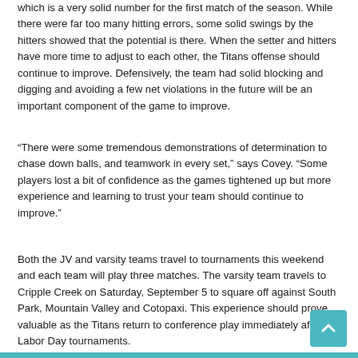which is a very solid number for the first match of the season. While there were far too many hitting errors, some solid swings by the hitters showed that the potential is there. When the setter and hitters have more time to adjust to each other, the Titans offense should continue to improve. Defensively, the team had solid blocking and digging and avoiding a few net violations in the future will be an important component of the game to improve.
“There were some tremendous demonstrations of determination to chase down balls, and teamwork in every set,” says Covey. “Some players lost a bit of confidence as the games tightened up but more experience and learning to trust your team should continue to improve.”
Both the JV and varsity teams travel to tournaments this weekend and each team will play three matches. The varsity team travels to Cripple Creek on Saturday, September 5 to square off against South Park, Mountain Valley and Cotopaxi. This experience should prove valuable as the Titans return to conference play immediately after the Labor Day tournaments.